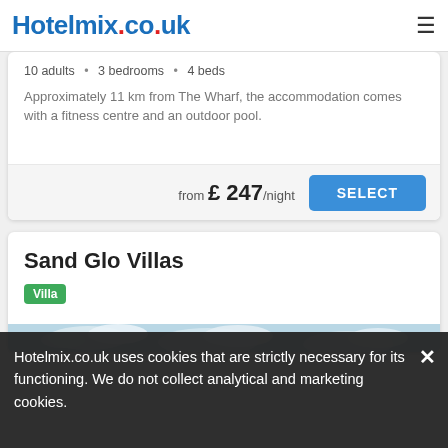Hotelmix.co.uk
10 adults • 3 bedrooms • 4 beds
Approximately 11 km from The Wharf, the accommodation comes with a fitness centre and an outdoor pool.
from £ 247/night
SELECT
Sand Glo Villas
Villa
[Figure (photo): Beach scene with ocean, sandy shore, coastal vegetation, and beach chairs under a cloudy sky]
Hotelmix.co.uk uses cookies that are strictly necessary for its functioning. We do not collect analytical and marketing cookies.